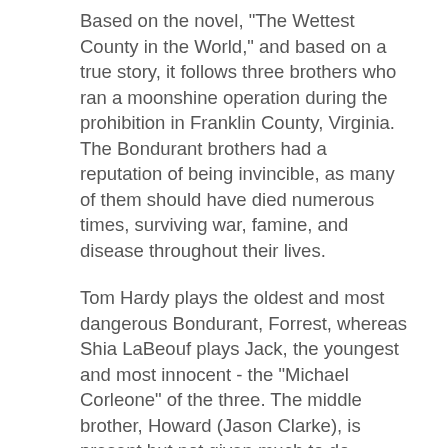Based on the novel, "The Wettest County in the World," and based on a true story, it follows three brothers who ran a moonshine operation during the prohibition in Franklin County, Virginia. The Bondurant brothers had a reputation of being invincible, as many of them should have died numerous times, surviving war, famine, and disease throughout their lives.
Tom Hardy plays the oldest and most dangerous Bondurant, Forrest, whereas Shia LaBeouf plays Jack, the youngest and most innocent - the "Michael Corleone" of the three. The middle brother, Howard (Jason Clarke), is present but not given much to do except follow the other two around.
When a shady new deputy (a slime-ball played by Guy Pearce) rolls into town and wants a piece of their illegal bootlegging operation, the proud Bondurants refuse. You can guess what happens next.
Lawless has a bunch of familiar themes and characters thrown in to the same film seemingly without much